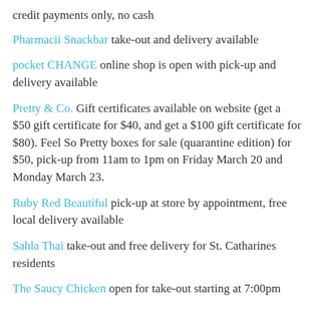credit payments only, no cash
Pharmacii Snackbar take-out and delivery available
pocket CHANGE online shop is open with pick-up and delivery available
Pretty & Co. Gift certificates available on website (get a $50 gift certificate for $40, and get a $100 gift certificate for $80). Feel So Pretty boxes for sale (quarantine edition) for $50, pick-up from 11am to 1pm on Friday March 20 and Monday March 23.
Ruby Red Beautiful pick-up at store by appointment, free local delivery available
Sahla Thai take-out and free delivery for St. Catharines residents
The Saucy Chicken open for take-out starting at 7:00pm